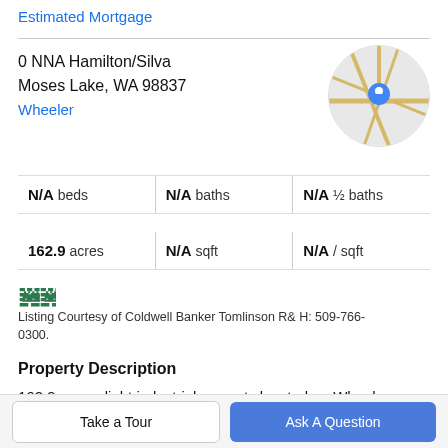Estimated Mortgage
0 NNA Hamilton/Silva
Moses Lake, WA 98837
Wheeler
[Figure (map): Circular map thumbnail showing street map with blue location pin]
N/A beds | N/A baths | N/A ½ baths
162.9 acres | N/A sqft | N/A / sqft
[Figure (logo): MLS logo with green stylized house/people icon]
Listing Courtesy of Coldwell Banker Tomlinson R& H: 509-766-0300.
Property Description
162.9 acres, light industrial property located on Wheeler Road Corridor. Minutes from city center. Large parcel...